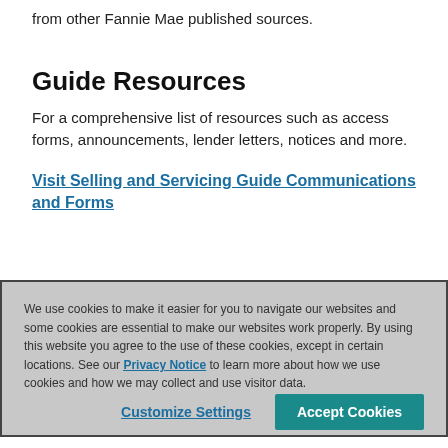from other Fannie Mae published sources.
Guide Resources
For a comprehensive list of resources such as access forms, announcements, lender letters, notices and more.
Visit Selling and Servicing Guide Communications and Forms
We use cookies to make it easier for you to navigate our websites and some cookies are essential to make our websites work properly. By using this website you agree to the use of these cookies, except in certain locations. See our Privacy Notice to learn more about how we use cookies and how we may collect and use visitor data.
Customize Settings
Accept Cookies